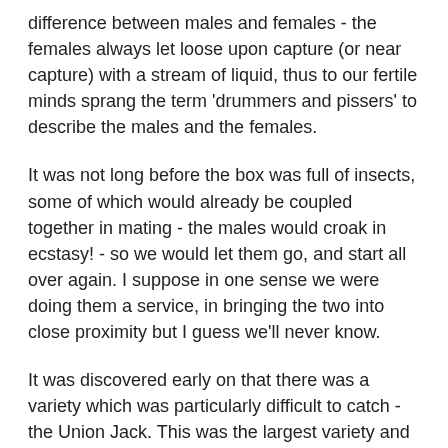difference between males and females - the females always let loose upon capture (or near capture) with a stream of liquid, thus to our fertile minds sprang the term 'drummers and pissers' to describe the males and the females.
It was not long before the box was full of insects, some of which would already be coupled together in mating - the males would croak in ecstasy! - so we would let them go, and start all over again. I suppose in one sense we were doing them a service, in bringing the two into close proximity but I guess we'll never know.
It was discovered early on that there was a variety which was particularly difficult to catch - the Union Jack. This was the largest variety and was particularly sensitive to vibration (of the tree it was in) and it invariably chose the tallest trees without limbs. I never did catch one of these in its adult state, many times I only put my foot on a tree at the base and the insect forty feet above would fly off.